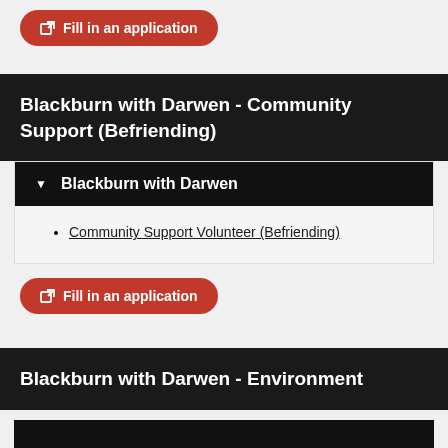Fill in an application
Blackburn with Darwen - Community Support (Befriending)
Blackburn with Darwen
Community Support Volunteer (Befriending)
Fill in an application
Blackburn with Darwen - Environment